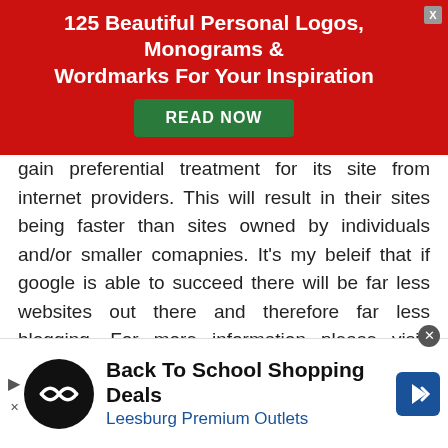[Figure (infographic): Red advertisement banner: '125 Beautiful Personal Logos, Monograms & Wordmarks For Your Inspiration' with a green READ NOW button and X close button]
gain preferential treatment for its site from internet providers. This will result in their sites being faster than sites owned by individuals and/or smaller comapnies. It's my beleif that if google is able to succeed there will be far less websites out there and therefore far less blogging. For more information please visit: http://www.internzoo.com/Article/internship-advice/resume.aspx
Pingback: Middle Zone Musings » What I Learned From 2008 - Jacob Share (Job Mob)
[Figure (infographic): Advertisement banner at bottom: Back To School Shopping Deals, Leesburg Premium Outlets, with logo and arrow icon]